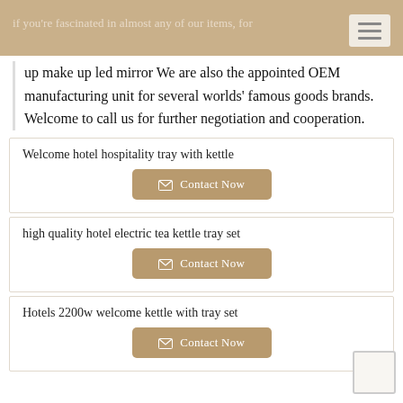if you're fascinated in almost any of our items, for
up make up led mirror We are also the appointed OEM manufacturing unit for several worlds' famous goods brands. Welcome to call us for further negotiation and cooperation.
Welcome hotel hospitality tray with kettle
Contact Now
high quality hotel electric tea kettle tray set
Contact Now
Hotels 2200w welcome kettle with tray set
Contact Now